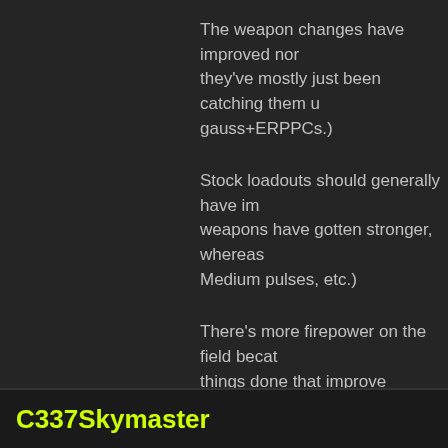The weapon changes have improved nor they've mostly just been catching them u gauss+ERPPCs.)
Stock loadouts should generally have im weapons have gotten stronger, whereas Medium pulses, etc.)
There's more firepower on the field beca things done that improve survivability, lik
At the end of the day, your problem is tha never been good, and never will be good
It might be interesting to see a quirk pass But that's a very low priority as most peo
C337Skymaster